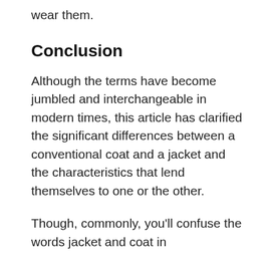wear them.
Conclusion
Although the terms have become jumbled and interchangeable in modern times, this article has clarified the significant differences between a conventional coat and a jacket and the characteristics that lend themselves to one or the other.
Though, commonly, you'll confuse the words jacket and coat in